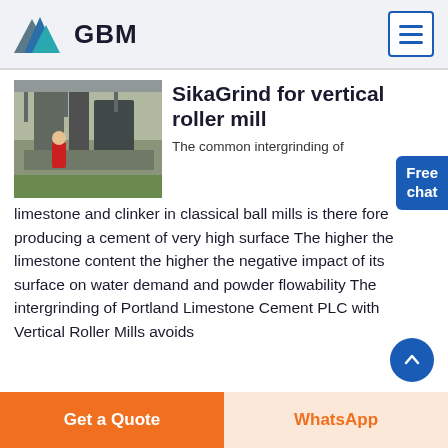[Figure (logo): GBM logo with blue/teal/gray mountain icon and bold GBM text]
[Figure (photo): Industrial vertical roller mill machinery inside a factory, worker in red visible]
SikaGrind for vertical roller mill
The common intergrinding of limestone and clinker in classical ball mills is there fore producing a cement of very high surface The higher the limestone content the higher the negative impact of its surface on water demand and powder flowability The intergrinding of Portland Limestone Cement PLC with Vertical Roller Mills avoids
[Figure (other): Free chat badge button in blue]
[Figure (other): Scroll up circular blue button with upward chevron]
Get a Quote
WhatsApp